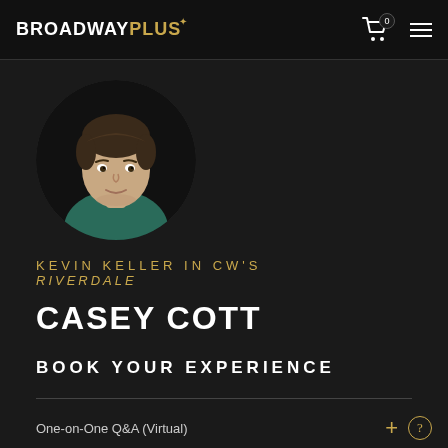BROADWAY PLUS
[Figure (photo): Circular headshot of young man with dark hair wearing a teal shirt, photographed against dark background]
KEVIN KELLER IN CW'S RIVERDALE
CASEY COTT
BOOK YOUR EXPERIENCE
One-on-One Q&A (Virtual)